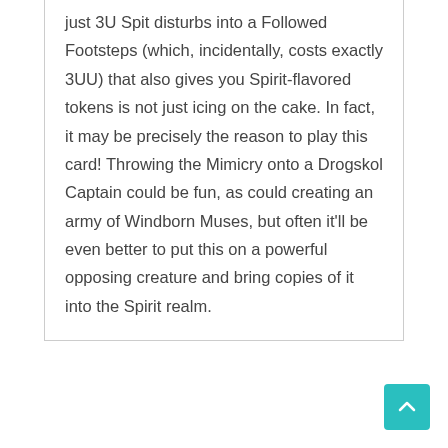just 3U Spit disturbs into a Followed Footsteps (which, incidentally, costs exactly 3UU) that also gives you Spirit-flavored tokens is not just icing on the cake. In fact, it may be precisely the reason to play this card! Throwing the Mimicry onto a Drogskol Captain could be fun, as could creating an army of Windborn Muses, but often it'll be even better to put this on a powerful opposing creature and bring copies of it into the Spirit realm.
Necroduality
[Figure (illustration): Magic: The Gathering card named Necroduality with mana cost 3U (blue), shown partially at the bottom of the page]